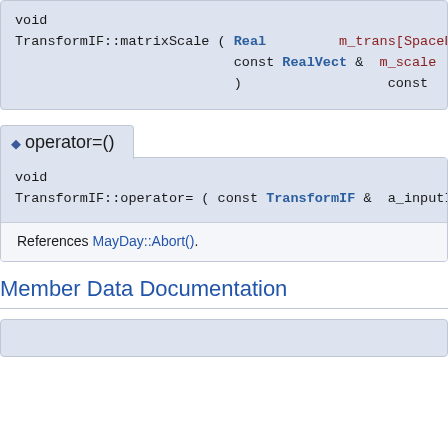[Figure (screenshot): Top partial code documentation box showing TransformIF::matrixScale function signature with parameters Real m_trans[SpaceDim+1], const RealVect & m_scale, ) const]
◆ operator=()
[Figure (screenshot): Code documentation box for TransformIF::operator= function: void TransformIF::operator= ( const TransformIF & a_inputIF ) with inline badge]
References MayDay::Abort().
Member Data Documentation